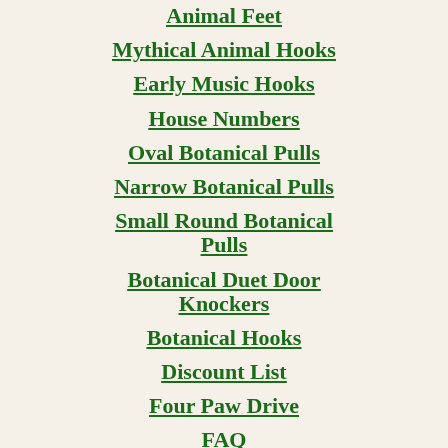Animal Feet
Mythical Animal Hooks
Early Music Hooks
House Numbers
Oval Botanical Pulls
Narrow Botanical Pulls
Small Round Botanical Pulls
Botanical Duet Door Knockers
Botanical Hooks
Discount List
Four Paw Drive
FAQ
Printable Order F...